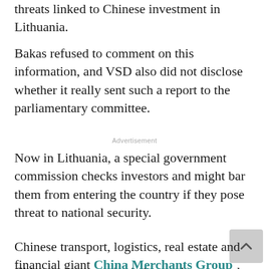threats linked to Chinese investment in Lithuania.
Bakas refused to comment on this information, and VSD also did not disclose whether it really sent such a report to the parliamentary committee.
Advertisement
Now in Lithuania, a special government commission checks investors and might bar them from entering the country if they pose threat to national security.
Chinese transport, logistics, real estate and financial giant China Merchants Group spoke several years ago about a possibility to deliver its cargo via Klaipėda several. The company is now developing an industrial park, Great Stone, in Belarus and the direct route for its exports would